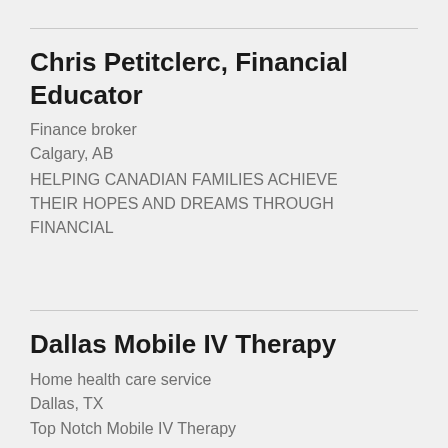Chris Petitclerc, Financial Educator
Finance broker
Calgary, AB
HELPING CANADIAN FAMILIES ACHIEVE THEIR HOPES AND DREAMS THROUGH FINANCIAL
Dallas Mobile IV Therapy
Home health care service
Dallas, TX
Top Notch Mobile IV Therapy